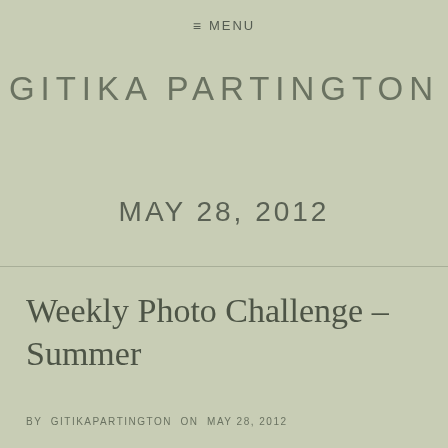≡ MENU
GITIKA PARTINGTON
MAY 28, 2012
Weekly Photo Challenge – Summer
BY GITIKAPARTINGTON ON MAY 28, 2012